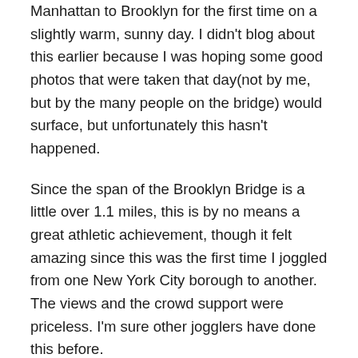Manhattan to Brooklyn for the first time on a slightly warm, sunny day. I didn't blog about this earlier because I was hoping some good photos that were taken that day(not by me, but by the many people on the bridge) would surface, but unfortunately this hasn't happened.
Since the span of the Brooklyn Bridge is a little over 1.1 miles, this is by no means a great athletic achievement, though it felt amazing since this was the first time I joggled from one New York City borough to another. The views and the crowd support were priceless. I'm sure other jogglers have done this before.
I kept thinking I was going to drop the balls due to the crowds, the cyclists, the noise from the cars, the occasional beautiful woman, and the temptation to keep spinning(I did this a few times) around to see the